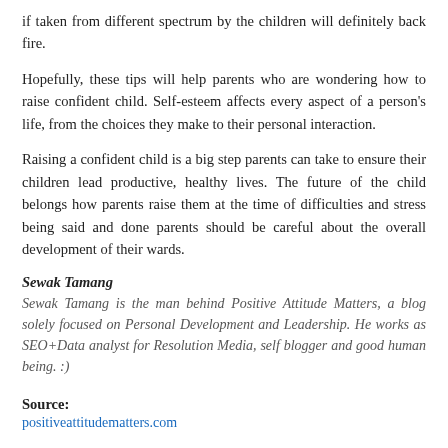if taken from different spectrum by the children will definitely back fire.
Hopefully, these tips will help parents who are wondering how to raise confident child. Self-esteem affects every aspect of a person's life, from the choices they make to their personal interaction.
Raising a confident child is a big step parents can take to ensure their children lead productive, healthy lives. The future of the child belongs how parents raise them at the time of difficulties and stress being said and done parents should be careful about the overall development of their wards.
Sewak Tamang
Sewak Tamang is the man behind Positive Attitude Matters, a blog solely focused on Personal Development and Leadership. He works as SEO+Data analyst for Resolution Media, self blogger and good human being. :)
Source:
positiveattitudematters.com